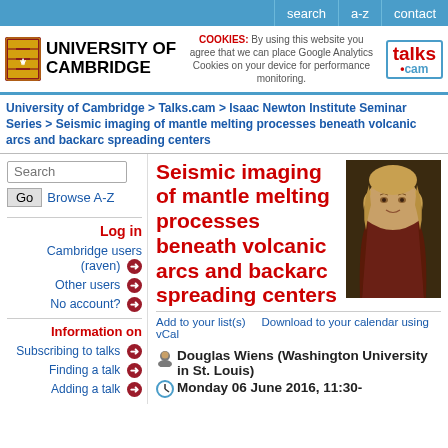search | a-z | contact
[Figure (logo): University of Cambridge crest and name logo, plus talks.cam logo]
COOKIES: By using this website you agree that we can place Google Analytics Cookies on your device for performance monitoring.
University of Cambridge > Talks.cam > Isaac Newton Institute Seminar Series > Seismic imaging of mantle melting processes beneath volcanic arcs and backarc spreading centers
Search | Go | Browse A-Z
Log in
Cambridge users (raven)
Other users
No account?
Information on
Subscribing to talks
Finding a talk
Adding a talk
Seismic imaging of mantle melting processes beneath volcanic arcs and backarc spreading centers
[Figure (photo): Portrait painting of Isaac Newton]
Add to your list(s)    Download to your calendar using vCal
Douglas Wiens (Washington University in St. Louis)
Monday 06 June 2016, 11:30-